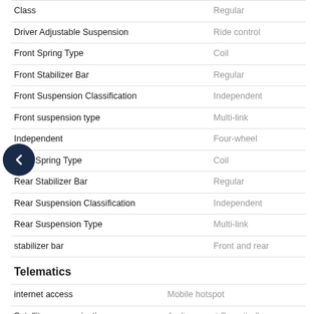| Feature | Value |
| --- | --- |
| Class | Regular |
| Driver Adjustable Suspension | Ride control |
| Front Spring Type | Coil |
| Front Stabilizer Bar | Regular |
| Front Suspension Classification | Independent |
| Front suspension type | Multi-link |
| Independent | Four-wheel |
| Rear Spring Type | Coil |
| Rear Stabilizer Bar | Regular |
| Rear Suspension Classification | Independent |
| Rear Suspension Type | Multi-link |
| stabilizer bar | Front and rear |
Telematics
| Feature | Value |
| --- | --- |
| internet access | Mobile hotspot |
| Satellite communications | Audi connect Security & Assistance |
| smart device integration | Audi smartphone interface (Apple |